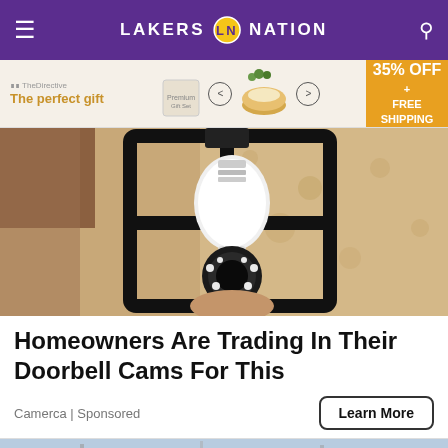LAKERS NATION
[Figure (screenshot): Ad banner for 'The perfect gift' featuring food/gift products with 35% OFF + FREE SHIPPING offer]
[Figure (photo): A security camera device mounted in a black outdoor lantern fixture against a textured stucco wall]
Homeowners Are Trading In Their Doorbell Cams For This
Camerca | Sponsored
Learn More